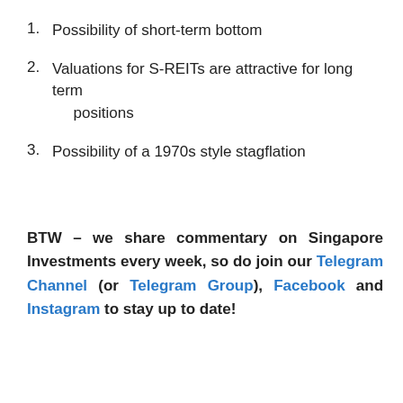1. Possibility of short-term bottom
2. Valuations for S-REITs are attractive for long term positions
3. Possibility of a 1970s style stagflation
BTW – we share commentary on Singapore Investments every week, so do join our Telegram Channel (or Telegram Group), Facebook and Instagram to stay up to date!